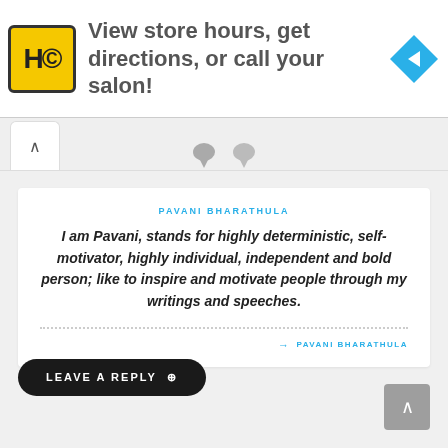[Figure (logo): HC salon logo on yellow background with navigation arrow icon - advertisement banner: View store hours, get directions, or call your salon!]
PAVANI BHARATHULA
I am Pavani, stands for highly deterministic, self-motivator, highly individual, independent and bold person; like to inspire and motivate people through my writings and speeches.
→ PAVANI BHARATHULA
LEAVE A REPLY ⊕